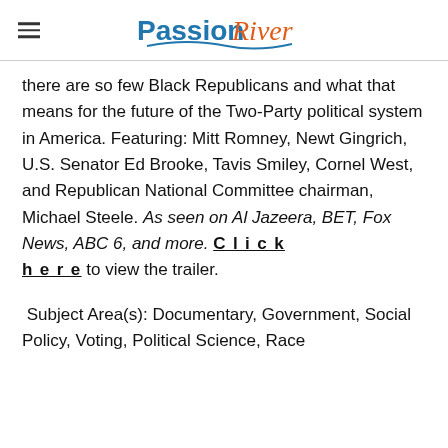PassionRiver
there are so few Black Republicans and what that means for the future of the Two-Party political system in America. Featuring: Mitt Romney, Newt Gingrich, U.S. Senator Ed Brooke, Tavis Smiley, Cornel West, and Republican National Committee chairman, Michael Steele. As seen on Al Jazeera, BET, Fox News, ABC 6, and more. Click here to view the trailer.
Subject Area(s): Documentary, Government, Social Policy, Voting, Political Science, Race